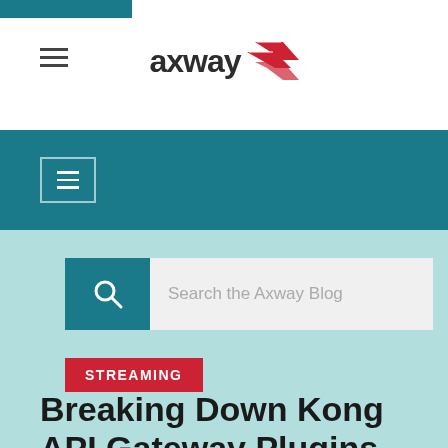[Figure (logo): Axway logo with red chevron/arrow icon and dark text 'axway']
[Figure (screenshot): Teal navigation bar with hamburger menu icon (three horizontal lines in a bordered box)]
[Figure (screenshot): Search bar with teal search icon box on left and light gray input area with placeholder 'Search the Axway Blog']
STREAMING
Breaking Down Kong API Gateway Plugins